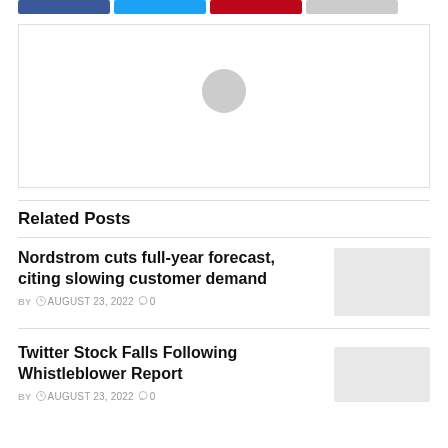[Figure (other): Social share buttons: Facebook (blue), Twitter (light blue), Pinterest (red), Google/other (grey)]
[Figure (illustration): Default user avatar placeholder: grey silhouette of a person on white background, inside a light bordered box]
Related Posts
Nordstrom cuts full-year forecast, citing slowing customer demand
BY  AUGUST 23, 2022  0
Twitter Stock Falls Following Whistleblower Report
BY  AUGUST 23, 2022  0